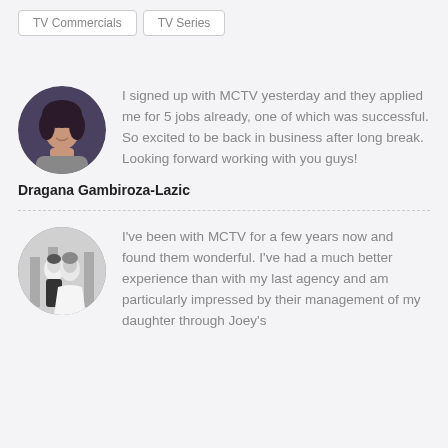TV Commercials
TV Series
[Figure (photo): Circular profile photo of Dragana Gambiroza-Lazic, a woman with dark hair]
I signed up with MCTV yesterday and they applied me for 5 jobs already, one of which was successful. So excited to be back in business after long break. Looking forward working with you guys!
Dragana Gambiroza-Lazic
[Figure (photo): Circular black-and-white photo of a couple, appearing to be at a wedding]
I've been with MCTV for a few years now and found them wonderful. I've had a much better experience than with my last agency and am particularly impressed by their management of my daughter through Joey's